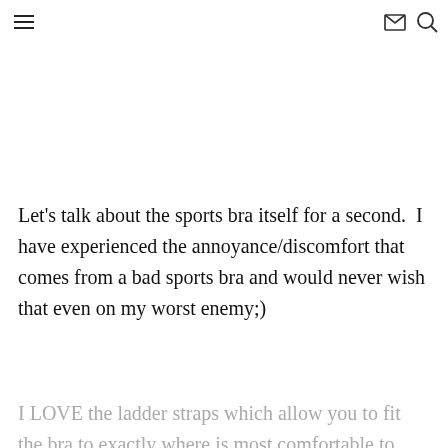≡  ✉ 🔍
Let's talk about the sports bra itself for a second.  I have experienced the annoyance/discomfort that comes from a bad sports bra and would never wish that even on my worst enemy;)
I LOVE the ladder straps which allow you to fit the bra to exactly where is most comfortable to you.  The cups